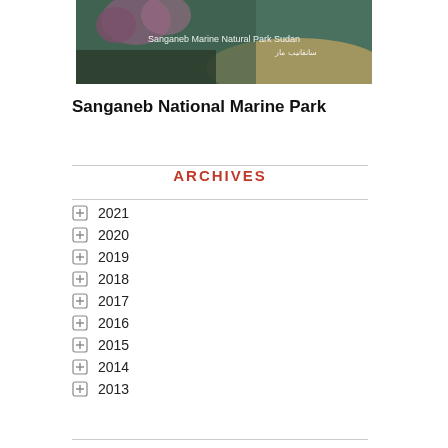[Figure (photo): Photo of Sanganeb National Marine Park showing coral and marine scenery with text overlay reading 'Sanganeb Marine Natural Park Sudan' and Arabic text]
Sanganeb National Marine Park
ARCHIVES
2021
2020
2019
2018
2017
2016
2015
2014
2013